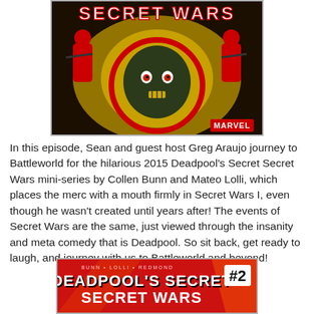[Figure (illustration): Comic book cover art showing Deadpool's Secret Secret Wars with a large hulk-like face in the center surrounded by action figures in red and yellow tones, Marvel logo at bottom right]
In this episode, Sean and guest host Greg Araujo journey to Battleworld for the hilarious 2015 Deadpool's Secret Secret Wars mini-series by Collen Bunn and Mateo Lolli, which places the merc with a mouth firmly in Secret Wars I, even though he wasn't created until years after! The events of Secret Wars are the same, just viewed through the insanity and meta comedy that is Deadpool. So sit back, get ready to laugh, and journey with us to Battleworld and beyond!
[Figure (illustration): Comic book issue #2 cover for Deadpool's Secret Secret Wars by Bunn, Lolli, Redmond, showing title text in stylized lettering on a red background]